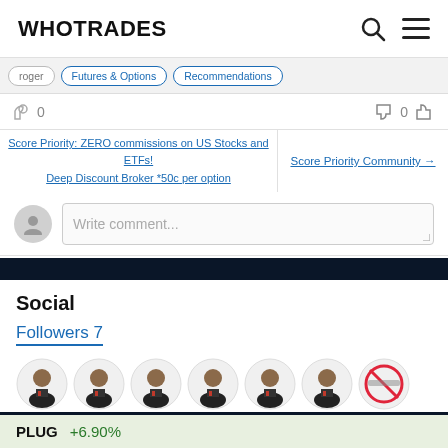WHOTRADES
Futures & Options  Recommendations
0  0
Score Priority: ZERO commissions on US Stocks and ETFs!
Deep Discount Broker *50c per option
Score Priority Community →
Write comment...
Social
Followers 7
PLUG  +6.90%